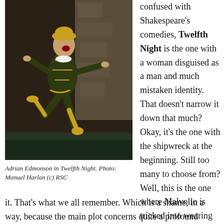[Figure (photo): Actor Adrian Edmonson in costume — a dark green and gold jester/fool outfit with yellow stockings and a gold cap — leaping energetically on a stage with stone-like backdrop.]
Adrian Edmonson in Twelfth Night. Photo: Manuel Harlan (c) RSC
confused with Shakespeare's comedies, Twelfth Night is the one with a woman disguised as a man and much mistaken identity. That doesn't narrow it down that much? Okay, it's the one with the shipwreck at the beginning. Still too many to choose from? Well, this is the one where Malvolio is tricked into wearing yellow garters. Now, you've got it. That's what we all remember. Which is a shame, in a way, because the main plot concerns quite a profound